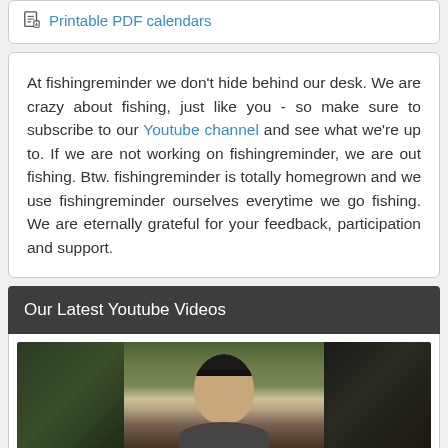Printable PDF calendars
At fishingreminder we don't hide behind our desk. We are crazy about fishing, just like you - so make sure to subscribe to our Youtube channel and see what we're up to. If we are not working on fishingreminder, we are out fishing. Btw. fishingreminder is totally homegrown and we use fishingreminder ourselves everytime we go fishing. We are eternally grateful for your feedback, participation and support.
Our Latest Youtube Videos
[Figure (photo): Video thumbnail showing a man wearing a black cap, with green foliage in the background, appearing to be a YouTube video thumbnail]